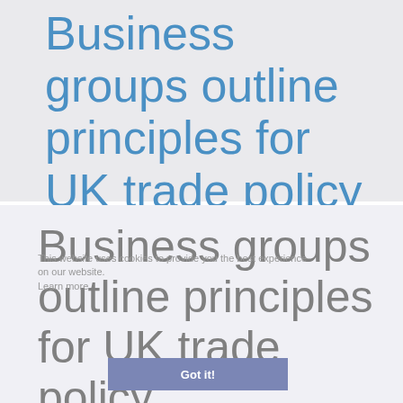Business groups outline principles for UK trade policy
Business groups outline principles for UK trade policy
This website uses cookies to provide you the best experience on our website. Learn more
Got it!